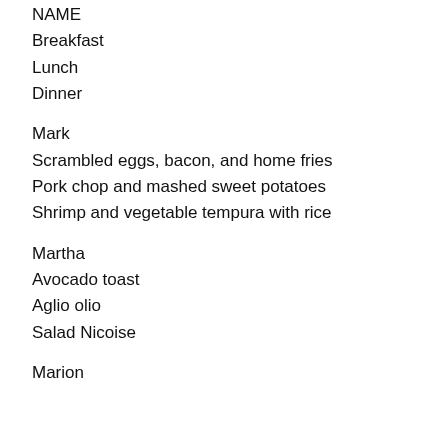NAME
Breakfast
Lunch
Dinner
Mark
Scrambled eggs, bacon, and home fries
Pork chop and mashed sweet potatoes
Shrimp and vegetable tempura with rice
Martha
Avocado toast
Aglio olio
Salad Nicoise
Marion